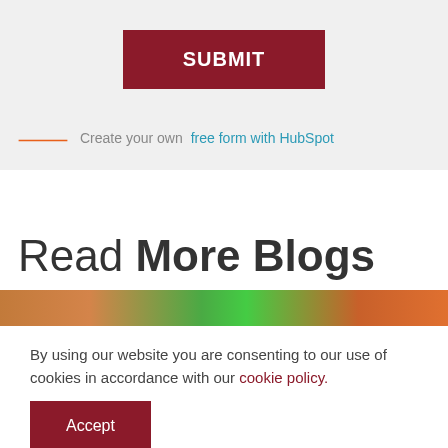SUBMIT
Create your own free form with HubSpot
Read More Blogs
[Figure (photo): A colorful image strip showing people and green objects, partially visible]
By using our website you are consenting to our use of cookies in accordance with our cookie policy.
Accept